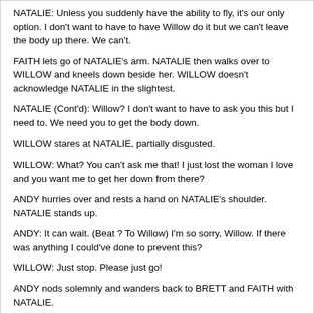NATALIE: Unless you suddenly have the ability to fly, it's our only option. I don't want to have to have Willow do it but we can't leave the body up there. We can't.
FAITH lets go of NATALIE's arm. NATALIE then walks over to WILLOW and kneels down beside her. WILLOW doesn't acknowledge NATALIE in the slightest.
NATALIE (Cont'd): Willow? I don't want to have to ask you this but I need to. We need you to get the body down.
WILLOW stares at NATALIE, partially disgusted.
WILLOW: What? You can't ask me that! I just lost the woman I love and you want me to get her down from there?
ANDY hurries over and rests a hand on NATALIE's shoulder. NATALIE stands up.
ANDY: It can wait. (Beat ? To Willow) I'm so sorry, Willow. If there was anything I could've done to prevent this?
WILLOW: Just stop. Please just go!
ANDY nods solemnly and wanders back to BRETT and FAITH with NATALIE.